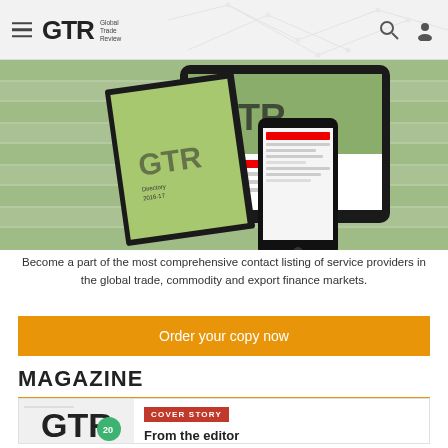GTR Global Trade Review
[Figure (screenshot): GTR Directory 2016-17 shown on tablet and smartphone devices, showing agricultural fields from above]
Become a part of the most comprehensive contact listing of service providers in the global trade, commodity and export finance markets.
Order your copy now
MAGAZINE
[Figure (photo): GTR magazine cover featuring GTR logo and 20th anniversary badge]
COVER STORY
From the editor